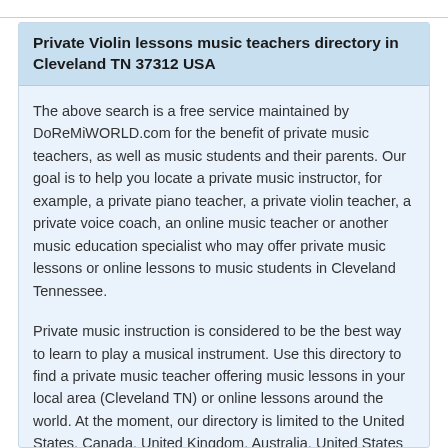Private Violin lessons music teachers directory in Cleveland TN 37312 USA
The above search is a free service maintained by DoReMiWORLD.com for the benefit of private music teachers, as well as music students and their parents. Our goal is to help you locate a private music instructor, for example, a private piano teacher, a private violin teacher, a private voice coach, an online music teacher or another music education specialist who may offer private music lessons or online lessons to music students in Cleveland Tennessee.
Private music instruction is considered to be the best way to learn to play a musical instrument. Use this directory to find a private music teacher offering music lessons in your local area (Cleveland TN) or online lessons around the world. At the moment, our directory is limited to the United States, Canada, United Kingdom, Australia, United States and New Zealand...